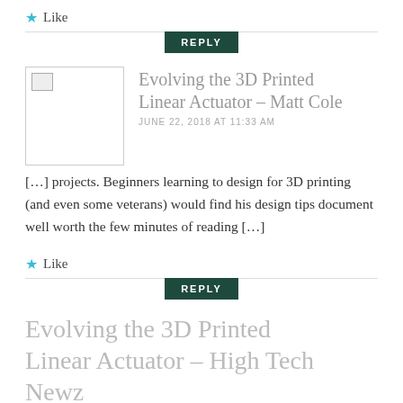★ Like
REPLY
Evolving the 3D Printed Linear Actuator – Matt Cole
JUNE 22, 2018 AT 11:33 AM
[…] projects. Beginners learning to design for 3D printing (and even some veterans) would find his design tips document well worth the few minutes of reading […]
★ Like
REPLY
Evolving the 3D Printed Linear Actuator – High Tech Newz
JUNE 22, 2018 AT 11:38 AM